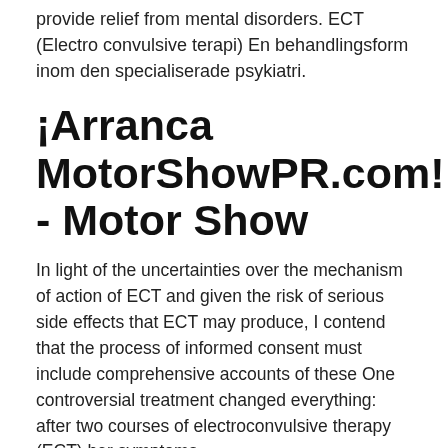provide relief from mental disorders. ECT (Electro convulsive terapi) En behandlingsform inom den specialiserade psykiatri.
¡Arranca MotorShowPR.com! - Motor Show
In light of the uncertainties over the mechanism of action of ECT and given the risk of serious side effects that ECT may produce, I contend that the process of informed consent must include comprehensive accounts of these One controversial treatment changed everything: after two courses of electroconvulsive therapy (ECT) her symptoms